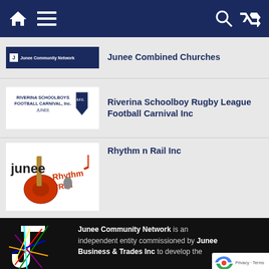Navigation bar with home, menu, search, and shuffle icons
Junee Community Network
Junee Combined Churches
[Figure (logo): Riverina Schoolboys Football Carnival Inc logo with shield emblem]
Riverina Schoolboy Rugby League Football Carnival Inc
[Figure (logo): Junee Rhythm n Rail Inc logo with guitar and music notes]
Rhythm n Rail Inc
[Figure (logo): Junee Community Network J logo with colorful lines]
Junee Community Network is an independent entity commissioned by Junee Business & Trades Inc to develop the